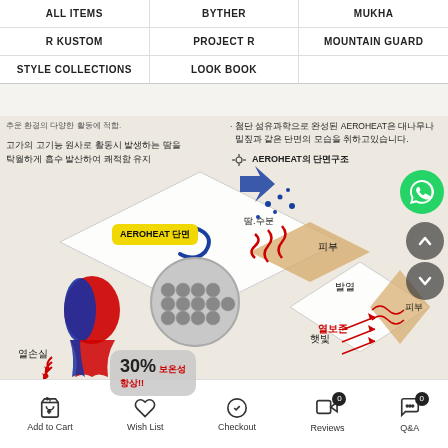ALL ITEMS | BYTHER | MUKHA | R KUSTOM | PROJECT R | MOUNTAIN GUARD | STYLE COLLECTIONS | LOOK BOOK
[Figure (infographic): AEROHEAT fabric technology infographic showing cross-section diagram with cold air, sweat/moisture, skin layers, heat retention zone, sunlight, and heat loss indicators. Includes 30% heat retention improvement callout and human silhouette showing heat loss.]
Add to Cart | Wish List | Checkout | Reviews | Q&A